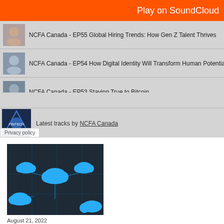[Figure (screenshot): SoundCloud embedded player widget showing playlist of NCFA Canada podcast episodes with orange top bar reading 'Play on SoundCloud', a 'Listen in browser' overlay button, and tracks EP55 through EP50 listed with thumbnails. Bottom strip shows NCFA Fintech Weekly logo and 'Latest tracks by NCFA Canada'. Privacy policy badge at bottom left.]
[Figure (photo): Cloud computing illustration showing blue 3D cloud icons connected by glowing teal circuit-board lines on a dark background.]
August 21, 2022